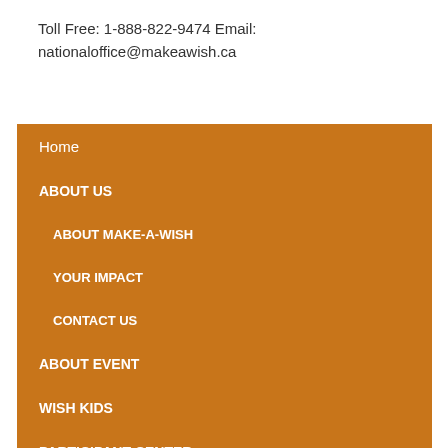Toll Free: 1-888-822-9474 Email: nationaloffice@makeawish.ca
Home
ABOUT US
ABOUT MAKE-A-WISH
YOUR IMPACT
CONTACT US
ABOUT EVENT
WISH KIDS
PARTICIPANT CENTER
SHOP